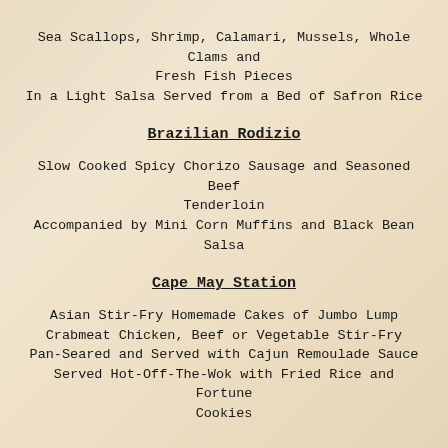Sea Scallops, Shrimp, Calamari, Mussels, Whole Clams and Fresh Fish Pieces
In a Light Salsa Served from a Bed of Safron Rice
Brazilian Rodizio
Slow Cooked Spicy Chorizo Sausage and Seasoned Beef Tenderloin
Accompanied by Mini Corn Muffins and Black Bean Salsa
Cape May Station
Asian Stir-Fry Homemade Cakes of Jumbo Lump Crabmeat Chicken, Beef or Vegetable Stir-Fry
Pan-Seared and Served with Cajun Remoulade Sauce
Served Hot-Off-The-Wok with Fried Rice and Fortune Cookies